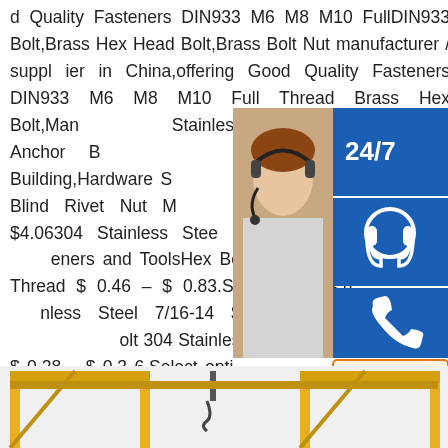d Quality Fasteners DIN933 M6 M8 M10 FullDIN933 Bolt,Brass Hex Head Bolt,Brass Bolt Nut manufacturer / supplier in China,offering Good Quality Fasteners DIN933 M6 M8 M10 Full Thread Brass Hex Bolt,Manufacturing Stainless Steel 316L Expansion Anchor Bolts and Sleeve Anchor Bolts for Building,Hardware Stainless Ca rbon Steel Round Body Blind Rivet Nut Manufacturers and on.sp.infoPrice $4.06304 Stainless Steel Nuts and Fasteners and ToolsHex Bolt 304 Stainless Steel Full Thread $ 0.46 – $ 0.83.Select options.hex bolt 304 Stainless Steel 7/16-14 $ 0.78 – $ 3.50.Select options.Hex Bolt 304 Stainless Steel 1/4"-20 Full Thread $ 0.28 – $ 0.36.Select options.Hex Bolt 304 Stainless Steel 3/4"-10 $ 3.06 – $ 10.81.
[Figure (infographic): Customer support widget overlay showing 24/7 label, headset icon, phone icon, Skype icon, a customer service representative photo, PROVIDE / Empowering Customers text, and online live button]
[Figure (photo): Bottom portion of yellow industrial crane/gantry structure visible at the bottom of the page]